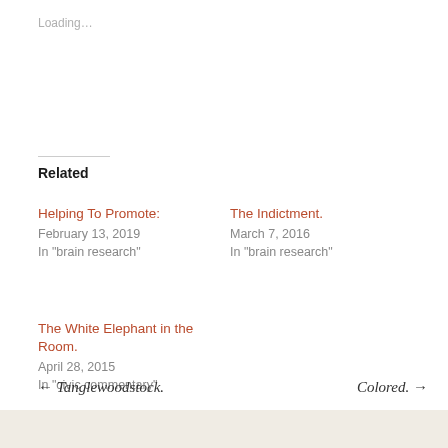Loading…
Related
Helping To Promote:
February 13, 2019
In "brain research"
The Indictment.
March 7, 2016
In "brain research"
The White Elephant in the Room.
April 28, 2015
In "civic commentary"
← Tanglewoodstock.   Colored. →